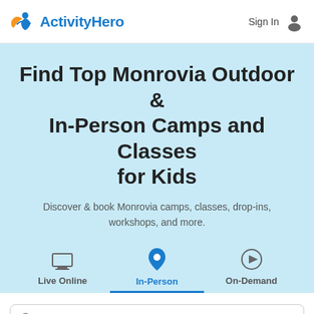ActivityHero   Sign In
Find Top Monrovia Outdoor & In-Person Camps and Classes for Kids
Discover & book Monrovia camps, classes, drop-ins, workshops, and more.
[Figure (infographic): Three navigation tabs: Live Online (laptop icon), In-Person (location pin icon, active/selected in blue), On-Demand (play button icon)]
Search for an activity